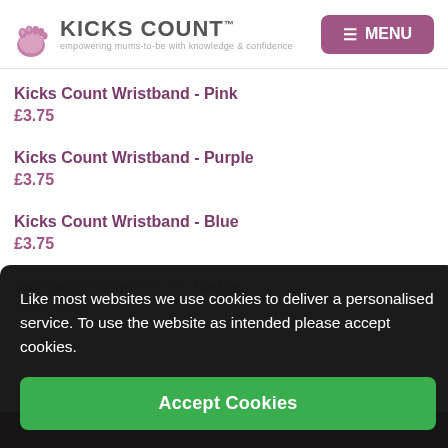Kicks Count — empowering mums-to-be with knowledge & confidence
Kicks Count Wristband - Pink
£3.75
Kicks Count Wristband - Purple
£3.75
Kicks Count Wristband - Blue
£3.75
Like most websites we use cookies to deliver a personalised service. To use the website as intended please accept cookies.
Accept Cookies